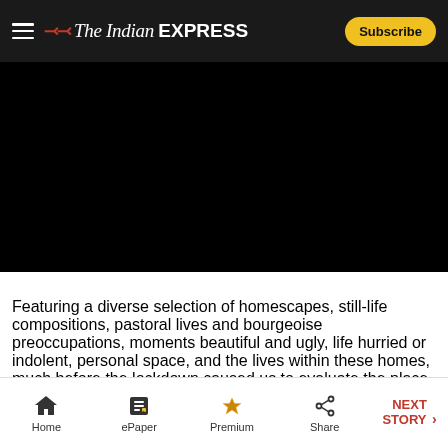The Indian Express — Subscribe
[Figure (photo): Black image area — artwork image not visible (dark/black frame)]
Featuring a diverse selection of homescapes, still-life compositions, pastoral lives and bourgeoise preoccupations, moments beautiful and ugly, life hurried or indolent, personal space, and the lives within these homes, much before the lockdown caused us to evaluate the place that became central to life itself, the exhibition, beginning with new art practices from the late nineteenth century onwards, is an ode to the place most of us regard as our refuge and sanctuary; Flame of Love by M A R Chughtai. (Source: PR Handout)
Home | ePaper | Premium | Share | NEXT STORY